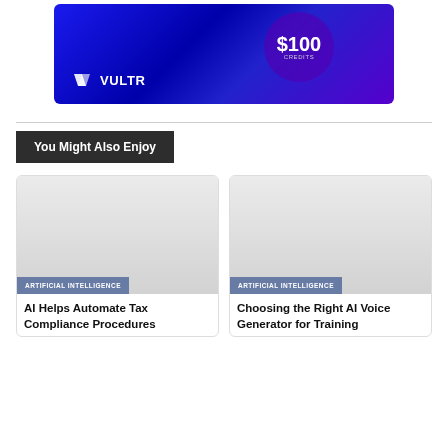[Figure (photo): Vultr promotional banner showing $100 credits offer on a dark blue background with geometric shapes and the Vultr logo]
You Might Also Enjoy
[Figure (photo): Article card image with light gray background, tagged ARTIFICIAL INTELLIGENCE, for article: AI Helps Automate Tax Compliance Procedures]
[Figure (photo): Article card image with light gray background, tagged ARTIFICIAL INTELLIGENCE, for article: Choosing the Right AI Voice Generator for Training]
AI Helps Automate Tax Compliance Procedures
Choosing the Right AI Voice Generator for Training